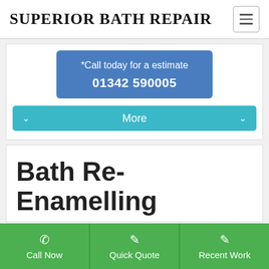SUPERIOR BATH REPAIR
*Call today for a estimate
01342 590005
More
Bath Re-Enamelling
Call Now
Quick Quote
Recent Work